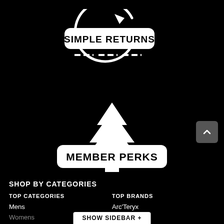[Figure (logo): Simple Returns icon with circular arrow and rounded rectangle badge reading SIMPLE RETURNS with dashed underline]
[Figure (logo): Member Perks icon with white pine tree silhouette and rounded rectangle badge reading MEMBER PERKS]
SHOP BY CATEGORIES
TOP CATEGORIES
TOP BRANDS
Mens
Arc'Teryx
Womens
SHOW SIDEBAR +